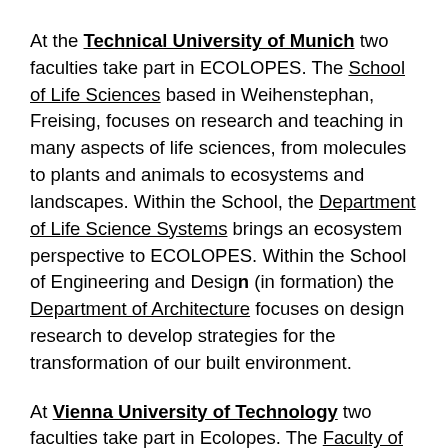At the Technical University of Munich two faculties take part in ECOLOPES. The School of Life Sciences based in Weihenstephan, Freising, focuses on research and teaching in many aspects of life sciences, from molecules to plants and animals to ecosystems and landscapes. Within the School, the Department of Life Science Systems brings an ecosystem perspective to ECOLOPES. Within the School of Engineering and Design (in formation) the Department of Architecture focuses on design research to develop strategies for the transformation of our built environment.
At Vienna University of Technology two faculties take part in Ecolopes. The Faculty of Architecture and Planning combines architecture and planning two fundamental subjects under the umbrella of one faculty and deals with the questions and challenges of the development and design of our environment. The Faculty...